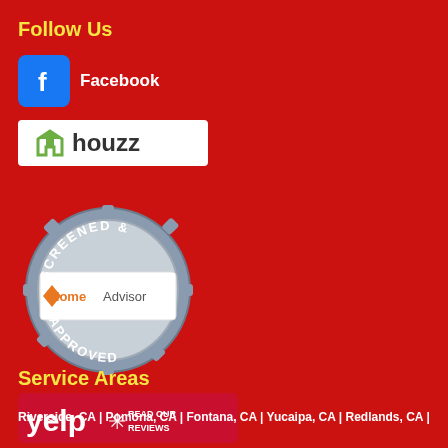Follow Us
[Figure (logo): Facebook logo with text 'Facebook']
[Figure (logo): Houzz logo on white background]
[Figure (logo): HomeAdvisor Screened & Approved badge]
[Figure (logo): Yelp logo with 'Read Our Reviews']
Service Areas
Riverside, CA | Pomona, CA | Fontana, CA | Yucaipa, CA | Redlands, CA |